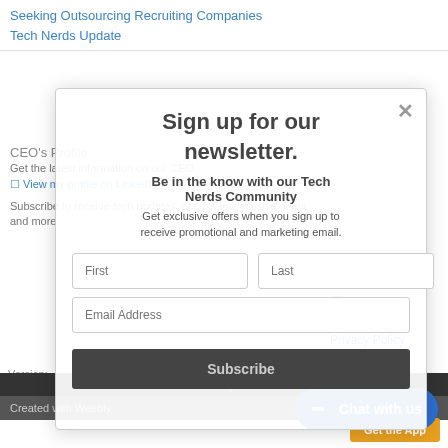Seeking Outsourcing Recruiting Companies
Tech Nerds Update
CEO's Profile
Get the latest information on our CEO.
View my profile on LinkedIn
Subscribe to receive tech updates, access to exclusive deals, and more.
RSS Feed
Privacy Policy
Terms and Conditions
Site Map
Contact Us
Version: Mobile | Web
Created with Weebly
[Figure (screenshot): Newsletter sign-up modal overlay with title 'Sign up for our newsletter', subtitle 'Be in the know with our Tech Nerds Community', description text about exclusive offers, and a form with First, Last, Email Address fields and a Subscribe button. Has a close (X) button in the top-right corner.]
Chat with us